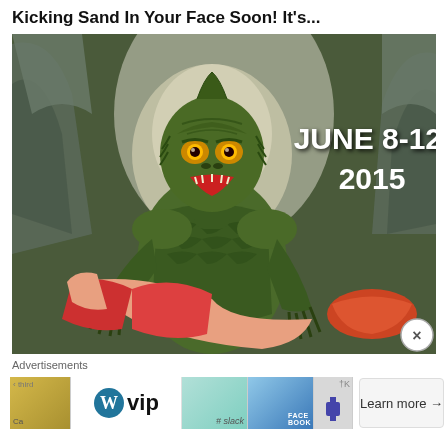Kicking Sand In Your Face Soon! It's...
[Figure (illustration): Classic monster movie poster style illustration of the Creature from the Black Lagoon (a green humanoid amphibian monster) carrying a woman in a red dress, set against rocky cliffs. Text overlay reads 'JUNE 8-12, 2015' in white bold text on the right side. A circular close (X) button appears in the bottom-right corner.]
Advertisements
[Figure (other): Advertisement banner showing WordPress VIP logo with circle W icon, alongside partial images of Slack, Facebook, and other brand tiles, with a 'Learn more →' button]